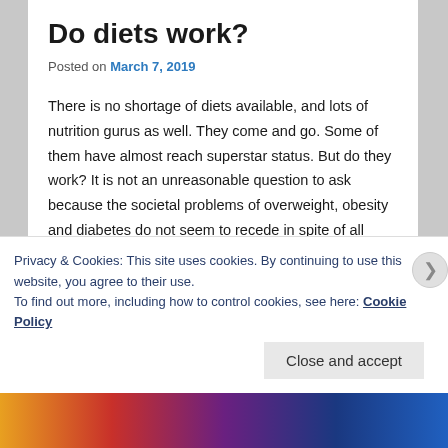Do diets work?
Posted on March 7, 2019
There is no shortage of diets available, and lots of nutrition gurus as well. They come and go. Some of them have almost reach superstar status. But do they work? It is not an unreasonable question to ask because the societal problems of overweight, obesity and diabetes do not seem to recede in spite of all sorts of solutions out there.
Although most people think that overweight is the result of an overindulging diet, it might not always be this simple.
Privacy & Cookies: This site uses cookies. By continuing to use this website, you agree to their use.
To find out more, including how to control cookies, see here: Cookie Policy